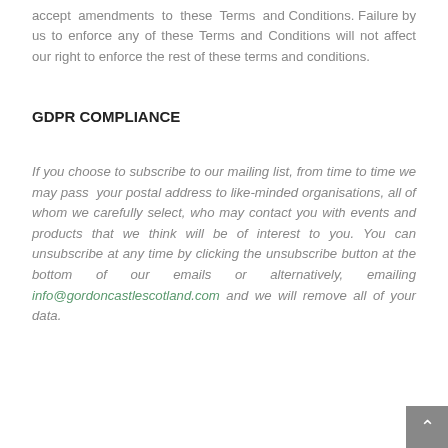accept amendments to these Terms and Conditions. Failure by us to enforce any of these Terms and Conditions will not affect our right to enforce the rest of these terms and conditions.
GDPR COMPLIANCE
If you choose to subscribe to our mailing list, from time to time we may pass  your postal address to like-minded organisations, all of whom we carefully select, who may contact you with events and products that we think will be of interest to you. You can unsubscribe at any time by clicking the unsubscribe button at the bottom of our emails or alternatively, emailing info@gordoncastlescotland.com and we will remove all of your data.